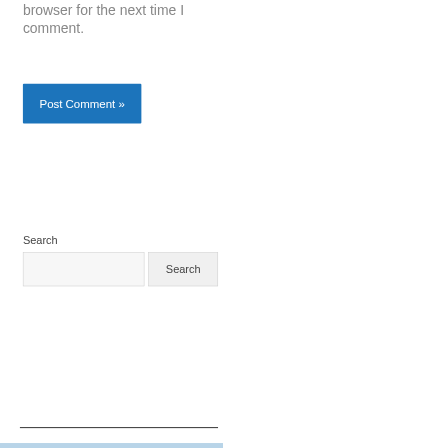browser for the next time I comment.
[Figure (other): Blue 'Post Comment »' button]
Search
[Figure (other): Search input field and Search button]